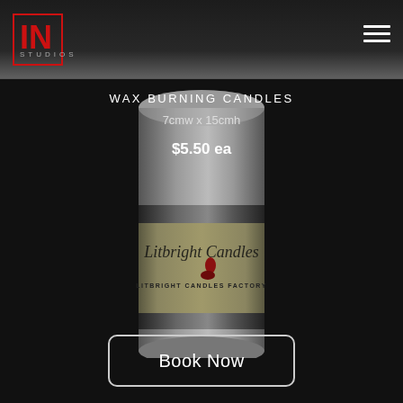IN STUDIOS
WAX BURNING CANDLES
7cmw x 15cmh
$5.50 ea
[Figure (photo): A cylindrical pillar candle with grey/silver body, dark band in the middle, and an olive/tan label reading 'Litbright Candles' with a red flame logo and 'LITBRIGHT CANDLES FACTORY' text beneath.]
Book Now